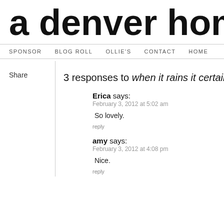a denver home c
SPONSOR   BLOG ROLL   OLLIE'S   CONTACT   HOME
Share
3 responses to when it rains it certainly po
Erica says:
February 3, 2012 at 5:02 am

So lovely.

reply
amy says:
February 3, 2012 at 4:08 pm

Nice.

reply